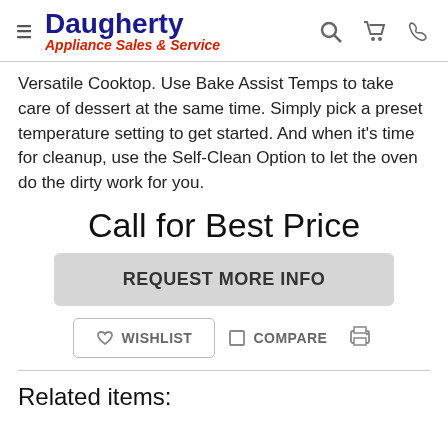Daugherty Appliance Sales & Service
Versatile Cooktop. Use Bake Assist Temps to take care of dessert at the same time. Simply pick a preset temperature setting to get started. And when it's time for cleanup, use the Self-Clean Option to let the oven do the dirty work for you.
Call for Best Price
REQUEST MORE INFO
WISHLIST
COMPARE
Related items: